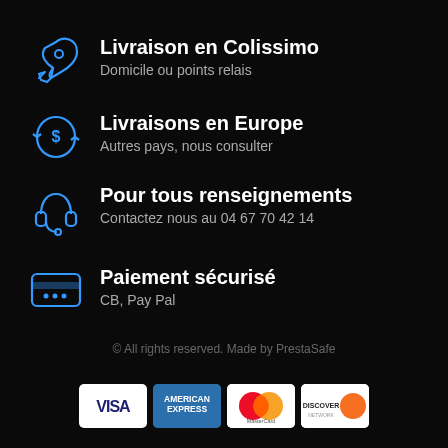Livraison en Colissimo
Domicile ou points relais
Livraisons en Europe
Autres pays, nous consulter
Pour tous renseignements
Contactez nous au 04 67 70 42 14
Paiement sécurisé
CB, Pay Pal
© All rights reserved. Made by PrestaSafe
[Figure (logo): Payment card logos: VISA, American Express, MasterCard, Discover]